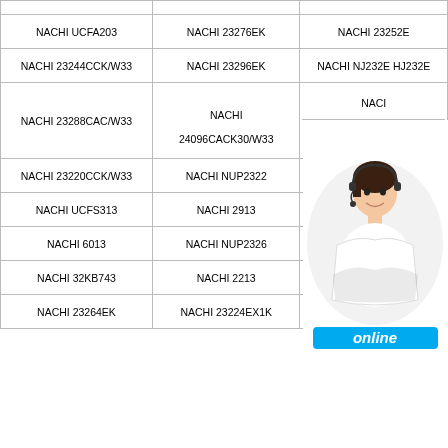| Col1 | Col2 | Col3 |
| --- | --- | --- |
|  |  |  |
| NACHI UCFA203 | NACHI 23276EK | NACHI 23252E |
| NACHI 23244CCK/W33 | NACHI 23296EK | NACHI NJ232E HJ232E |
| NACHI 23288CAC/W33 | NACHI
24096CACK30/W33 | NACI... / NAC... |
| NACHI 23220CCK/W33 | NACHI NUP2322 | NAC... |
| NACHI UCFS313 | NACHI 2913 | N... |
| NACHI 6013 | NACHI NUP2326 | NACHI 23276E |
| NACHI 32KB743 | NACHI 2213 | NACHI 23100/23256 |
| NACHI 23264EK | NACHI 23224EX1K | NACHI 24092CAC/W33 |